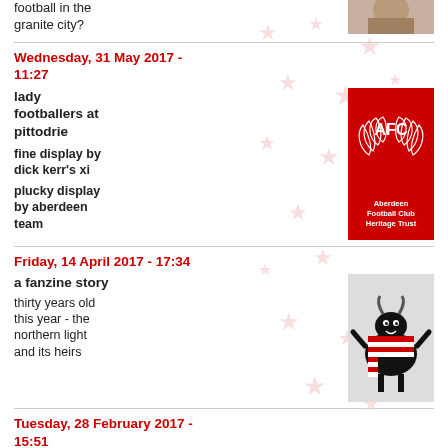football in the granite city?
[Figure (photo): Partial image of a historical football-related photo]
Wednesday, 31 May 2017 - 11:27
lady footballers at pittodrie
fine display by dick kerr's xi
plucky display by aberdeen team
[Figure (logo): Aberdeen Football Club Heritage Trust logo - red background with AFC laurel wreath crest and text]
Friday, 14 April 2017 - 17:34
a fanzine story
thirty years old this year - the northern light and its heirs
[Figure (illustration): Illustrated black sheep character wearing a red and white striped scarf]
Tuesday, 28 February 2017 - 15:51
one for the statos
lennie loses a
[Figure (photo): Old newspaper or book image with text LENNIE TRICKS LAWSON at top]